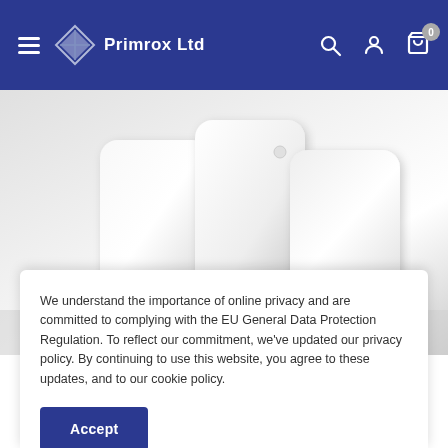Primrox Ltd — navigation bar with hamburger menu, logo, search, account, and cart icons
[Figure (photo): Close-up photo of white ceramic or plastic radiator panels/components on a grey-white gradient background]
We understand the importance of online privacy and are committed to complying with the EU General Data Protection Regulation. To reflect our commitment, we've updated our privacy policy. By continuing to use this website, you agree to these updates, and to our cookie policy.
Accept